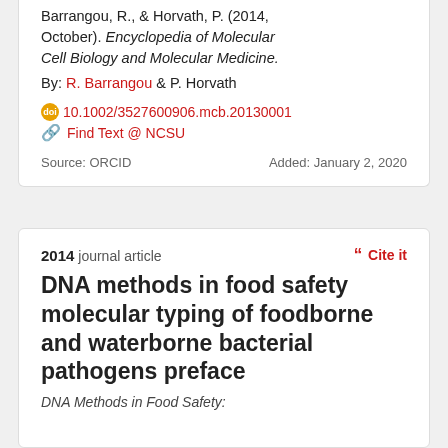Barrangou, R., & Horvath, P. (2014, October). Encyclopedia of Molecular Cell Biology and Molecular Medicine. By: R. Barrangou & P. Horvath
doi: 10.1002/3527600906.mcb.20130001
Find Text @ NCSU
Source: ORCID    Added: January 2, 2020
2014 journal article
DNA methods in food safety molecular typing of foodborne and waterborne bacterial pathogens preface
DNA Methods in Food Safety: